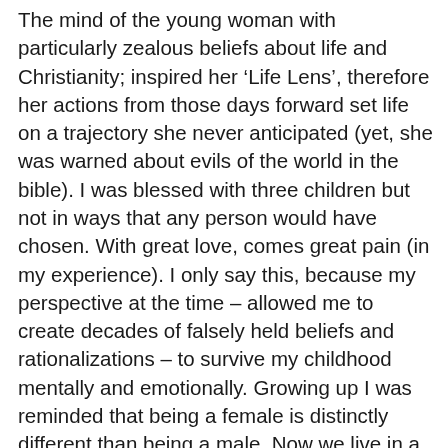The mind of the young woman with particularly zealous beliefs about life and Christianity; inspired her ‘Life Lens’, therefore her actions from those days forward set life on a trajectory she never anticipated (yet, she was warned about evils of the world in the bible). I was blessed with three children but not in ways that any person would have chosen. With great love, comes great pain (in my experience). I only say this, because my perspective at the time – allowed me to create decades of falsely held beliefs and rationalizations – to survive my childhood mentally and emotionally. Growing up I was reminded that being a female is distinctly different than being a male. Now we live in a world where I am educated that gender is a ‘fluid concept’, and I think of how often I judged perfectly respectful and amazing -GOOD- men,